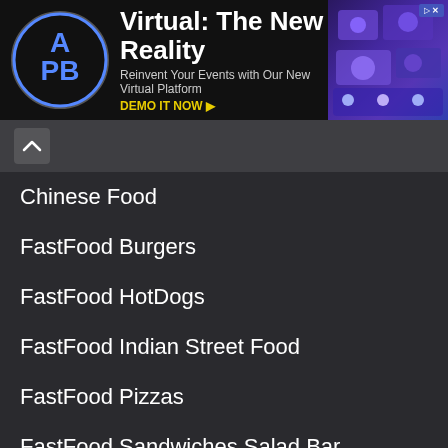[Figure (other): APB advertisement banner: Virtual: The New Reality - Reinvent Your Events with Our New Virtual Platform. DEMO IT NOW.]
Chinese Food
FastFood Burgers
FastFood HotDogs
FastFood Indian Street Food
FastFood Pizzas
FastFood Sandwiches Salad Bar
Food Court
Food Grocery Confectionery
Food Sizzlers
Gujarati Food
Hyderabadi Food
Ice Cream Gelato Juices